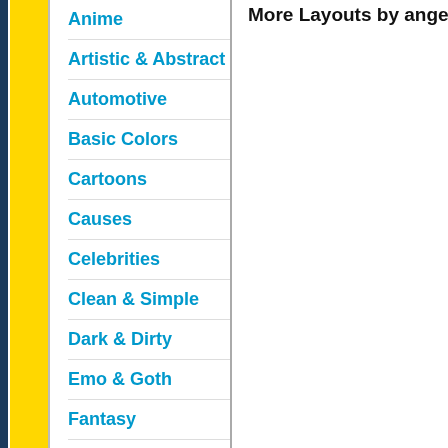Anime
Artistic & Abstract
Automotive
Basic Colors
Cartoons
Causes
Celebrities
Clean & Simple
Dark & Dirty
Emo & Goth
Fantasy
Flowers
Games
General
Girly
Holidays
Love
> Movies & TV <
More Layouts by angelofredemption